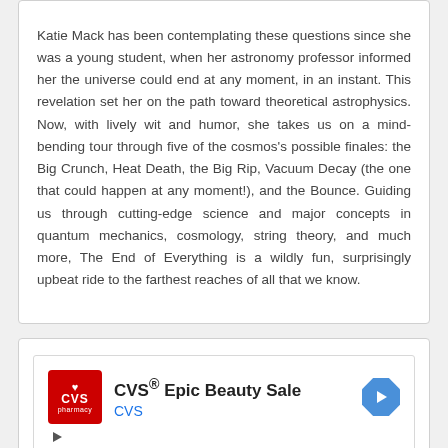Katie Mack has been contemplating these questions since she was a young student, when her astronomy professor informed her the universe could end at any moment, in an instant. This revelation set her on the path toward theoretical astrophysics. Now, with lively wit and humor, she takes us on a mind-bending tour through five of the cosmos's possible finales: the Big Crunch, Heat Death, the Big Rip, Vacuum Decay (the one that could happen at any moment!), and the Bounce. Guiding us through cutting-edge science and major concepts in quantum mechanics, cosmology, string theory, and much more, The End of Everything is a wildly fun, surprisingly upbeat ride to the farthest reaches of all that we know.
[Figure (other): CVS Pharmacy advertisement banner: CVS logo (red square with heart and CVS text), headline 'CVS® Epic Beauty Sale', brand name 'CVS' in blue, a blue diamond-shaped navigation arrow icon on the right, play button and close button controls below.]